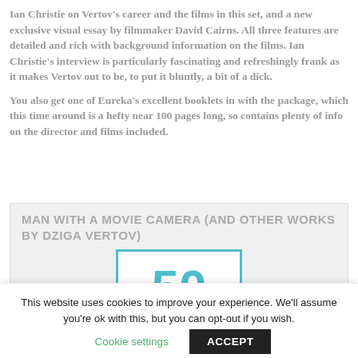Ian Christie on Vertov's career and the films in this set, and a new exclusive visual essay by filmmaker David Cairns. All three features are detailed and rich with background information on the films. Ian Christie's interview is particularly fascinating and refreshingly frank as it makes Vertov out to be, to put it bluntly, a bit of a dick.
You also get one of Eureka's excellent booklets in with the package, which this time around is a hefty near 100 pages long, so contains plenty of info on the director and films included.
MAN WITH A MOVIE CAMERA (AND OTHER WORKS BY DZIGA VERTOV)
[Figure (other): Score display box showing the number 50 in teal color within a teal-bordered rectangle]
This website uses cookies to improve your experience. We'll assume you're ok with this, but you can opt-out if you wish.
Cookie settings   ACCEPT